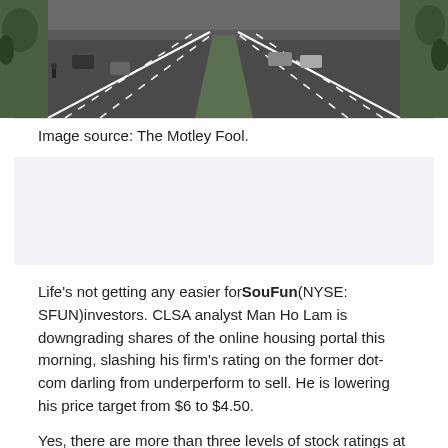[Figure (photo): Aerial view of a multi-lane highway with cars and green vegetation on sides]
Image source: The Motley Fool.
[Figure (other): Advertisement placeholder box with light gray background]
Life's not getting any easier for SouFun (NYSE: SFUN) investors. CLSA analyst Man Ho Lam is downgrading shares of the online housing portal this morning, slashing his firm's rating on the former dot-com darling from underperform to sell. He is lowering his price target from $6 to $4.50.
Yes, there are more than three levels of stock ratings at